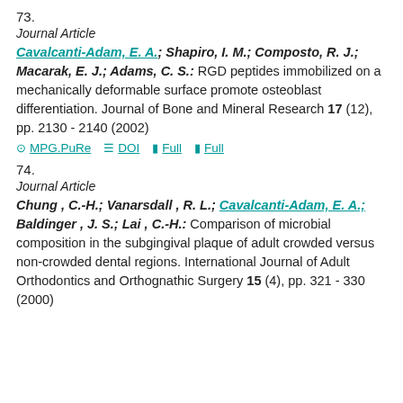73.
Journal Article
Cavalcanti-Adam, E. A.; Shapiro, I. M.; Composto, R. J.; Macarak, E. J.; Adams, C. S.: RGD peptides immobilized on a mechanically deformable surface promote osteoblast differentiation. Journal of Bone and Mineral Research 17 (12), pp. 2130 - 2140 (2002)
MPG.PuRe  DOI  Full  Full
74.
Journal Article
Chung , C.-H.; Vanarsdall , R. L.; Cavalcanti-Adam, E. A.; Baldinger , J. S.; Lai , C.-H.: Comparison of microbial composition in the subgingival plaque of adult crowded versus non-crowded dental regions. International Journal of Adult Orthodontics and Orthognathic Surgery 15 (4), pp. 321 - 330 (2000)